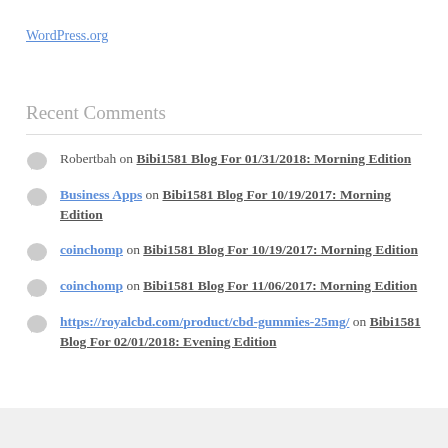WordPress.org
Recent Comments
Robertbah on Bibi1581 Blog For 01/31/2018: Morning Edition
Business Apps on Bibi1581 Blog For 10/19/2017: Morning Edition
coinchomp on Bibi1581 Blog For 10/19/2017: Morning Edition
coinchomp on Bibi1581 Blog For 11/06/2017: Morning Edition
https://royalcbd.com/product/cbd-gummies-25mg/ on Bibi1581 Blog For 02/01/2018: Evening Edition